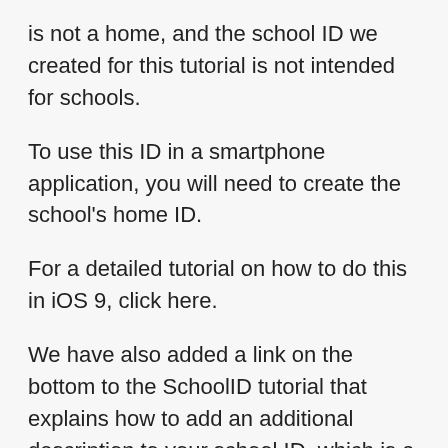is not a home, and the school ID we created for this tutorial is not intended for schools.
To use this ID in a smartphone application, you will need to create the school’s home ID.
For a detailed tutorial on how to do this in iOS 9, click here.
We have also added a link on the bottom to the SchoolID tutorial that explains how to add an additional description to your school ID, which is a more detailed description of the reason you are using the schoolID.
To complete this tutorial in iOS 10, click this